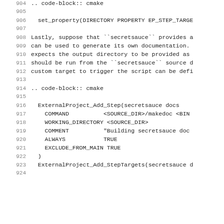904    .. code-block:: cmake
905
906      set_property(DIRECTORY PROPERTY EP_STEP_TARGE
907
908    Lastly, suppose that ``secretsauce`` provides a
909    can be used to generate its own documentation.
910    expects the output directory to be provided as
911    should be run from the ``secretsauce`` source d
912    custom target to trigger the script can be defi
913
914    .. code-block:: cmake
915
916      ExternalProject_Add_Step(secretsauce docs
917        COMMAND          <SOURCE_DIR>/makedoc <BIN
918        WORKING_DIRECTORY <SOURCE_DIR>
919        COMMENT          "Building secretsauce doc
920        ALWAYS           TRUE
921        EXCLUDE_FROM_MAIN TRUE
922      )
923      ExternalProject_Add_StepTargets(secretsauce d
924